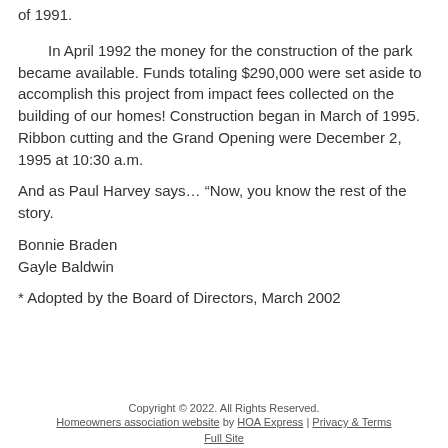of 1991.
In April 1992 the money for the construction of the park became available. Funds totaling $290,000 were set aside to accomplish this project from impact fees collected on the building of our homes! Construction began in March of 1995. Ribbon cutting and the Grand Opening were December 2, 1995 at 10:30 a.m.
And as Paul Harvey says… “Now, you know the rest of the story.
Bonnie Braden
Gayle Baldwin
* Adopted by the Board of Directors, March 2002
Copyright © 2022. All Rights Reserved.
Homeowners association website by HOA Express | Privacy & Terms
Full Site